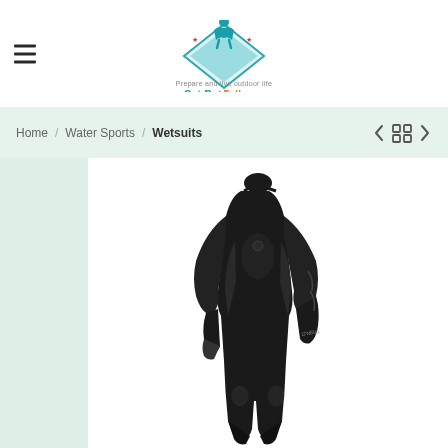[Figure (logo): OutdoorFull.com logo: blue diamond shape with muscular figure icon on top, text 'OutdoorFull.com' and tagline 'Prepare and live outdoor life']
Home  /  Water Sports  /  Wetsuits
[Figure (photo): Product photo of a black full-length women's wetsuit on a mannequin/model, shown from the front-right angle against a white background]